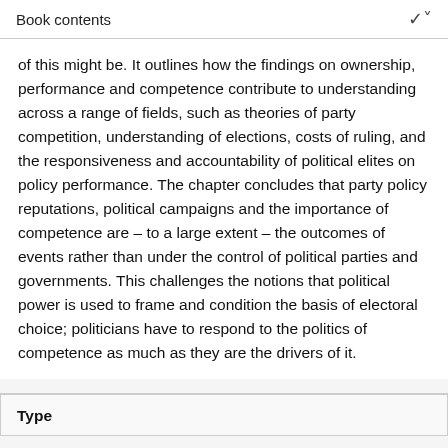Book contents
of this might be. It outlines how the findings on ownership, performance and competence contribute to understanding across a range of fields, such as theories of party competition, understanding of elections, costs of ruling, and the responsiveness and accountability of political elites on policy performance. The chapter concludes that party policy reputations, political campaigns and the importance of competence are – to a large extent – the outcomes of events rather than under the control of political parties and governments. This challenges the notions that political power is used to frame and condition the basis of electoral choice; politicians have to respond to the politics of competence as much as they are the drivers of it.
Type